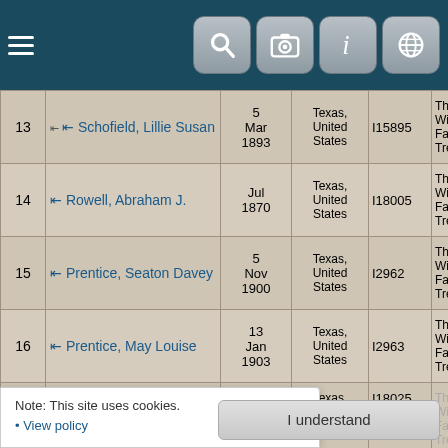Navigation header with hamburger menu and icons: search, camera, info, globe
| # | Name | Date | Place | ID | Tree |
| --- | --- | --- | --- | --- | --- |
| 13 | ⇤ Schofield, Lillie Susan | 5 Mar 1893 | Texas, United States | I15895 | The Williams Family Tree |
| 14 | ⇤ Rowell, Abraham J. | Jul 1870 | Texas, United States | I18005 | The Williams Family Tree |
| 15 | ⇤ Prentice, Seaton Davey | 5 Nov 1900 | Texas, United States | I2962 | The Williams Family Tree |
| 16 | ⇤ Prentice, May Louise | 13 Jan 1903 | Texas, United States | I2963 | The Williams Family Tree |
| 17 | ⇤ Owens |  | Texas, United States | I18025 | The Williams Family Tree |
| 18 | ⇤ Melton, James Albert | 24 [1987] | Texas, United States | I16296 | The Williams Family Tree |
Note: This site uses cookies.
• View policy
I understand